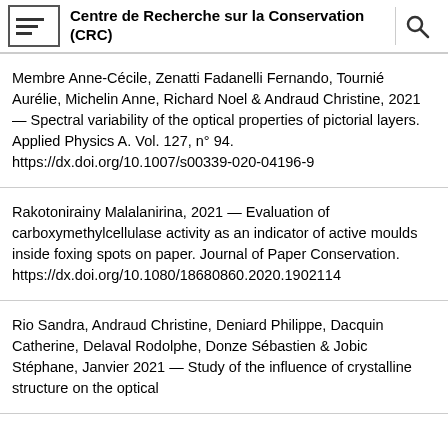Centre de Recherche sur la Conservation (CRC)
Membre Anne-Cécile, Zenatti Fadanelli Fernando, Tournié Aurélie, Michelin Anne, Richard Noel & Andraud Christine, 2021 — Spectral variability of the optical properties of pictorial layers. Applied Physics A. Vol. 127, n° 94. https://dx.doi.org/10.1007/s00339-020-04196-9
Rakotonirainy Malalanirina, 2021 — Evaluation of carboxymethylcellulase activity as an indicator of active moulds inside foxing spots on paper. Journal of Paper Conservation. https://dx.doi.org/10.1080/18680860.2020.1902114
Rio Sandra, Andraud Christine, Deniard Philippe, Dacquin Catherine, Delaval Rodolphe, Donze Sébastien & Jobic Stéphane, Janvier 2021 — Study of the influence of crystalline structure on the optical...